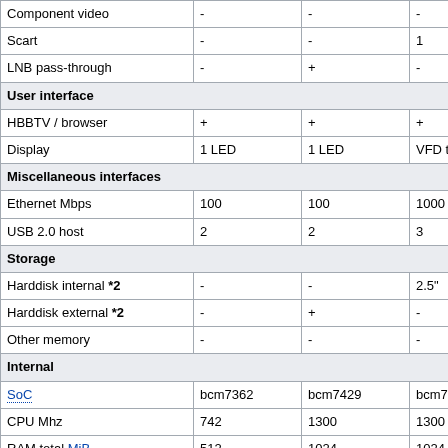|  | col1 | col2 | col3 | col4 |
| --- | --- | --- | --- | --- |
| Component video | - | - | - | + |
| Scart | - | - | 1 | 1 |
| LNB pass-through | - | + | - | pluggable |
| User interface |  |  |  |  |
| HBBTV / browser | + | + | + | + |
| Display | 1 LED | 1 LED | VFD text | VFD 140x3 |
| Miscellaneous interfaces |  |  |  |  |
| Ethernet Mbps | 100 | 100 | 1000 | 1000 |
| USB 2.0 host | 2 | 2 | 3 | 3 |
| Storage |  |  |  |  |
| Harddisk internal *2 | - | - | 2.5" | 2.5/3.5" |
| Harddisk external *2 | - | + | - | + |
| Other memory | - | - | - | - |
| Internal |  |  |  |  |
| SoC | bcm7362 | bcm7429 | bcm7346 | bcm7424 |
| CPU Mhz | 742 | 1300 | 1300 | 1300 |
| RAM total MiB | 512 | 1024 | 1024 | 2048 |
| RAM available MiB |  |  | 570 | 965 |
| Flash size MiB | 256 | 256 | 256 | 1024 |
| Video resolution *3 | progressive | progressive | progressive | progressive |
| Transcoding *A | - | limited | limited | + |